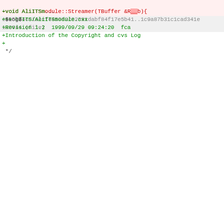@@ -391,7 +394,7 @@ void AliITSgeom::LtoG(const Int_t *id,co
return;
  }
  //
-void AliITSgeom::LtoG(Int_t index,const Float_t *l,Float_t
+void AliITSgeom::LtoG(const Int_t index,const Float_t *l,Fl
////////////////////////////////////////////////////
//     The function that does the local active volume dete
// coordinate to global ALICE Cartesian coordinate transfor
diff --git a/ITS/AliITSmodule.cxx b/ITS/AliITSmodule.cxx
index c6959b4c616ecfe45982c82391dabf84f17e5b41..1c9a87b31c1cad341e 100644 (file)
--- a/ITS/AliITSmodule.cxx
+++ b/ITS/AliITSmodule.cxx
@@ -15,6 +15,9 @@
/*
 $Log$
+Revision 1.2  1999/09/29 09:24:20  fca
+Introduction of the Copyright and cvs Log
+
 */
#include "AliITSmodule.h"
@@ -79,7 +82,7 @@ Int_t AliITSmodule::AddHit(AliITShit* hit
}
//
-void AliITSmodule::Streamer(TBuffer &R__b){